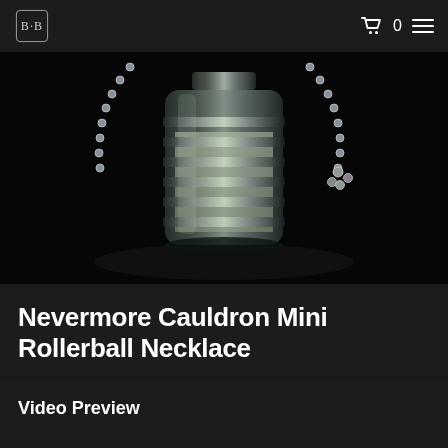B·B logo, cart icon 0, hamburger menu
[Figure (photo): Close-up photo of a small glass cauldron-shaped rollerball perfume vial hanging on a silver ball chain necklace against a dark/black background. The glass vial has horizontal ridges and contains a clear liquid.]
Nevermore Cauldron Mini Rollerball Necklace
Video Preview